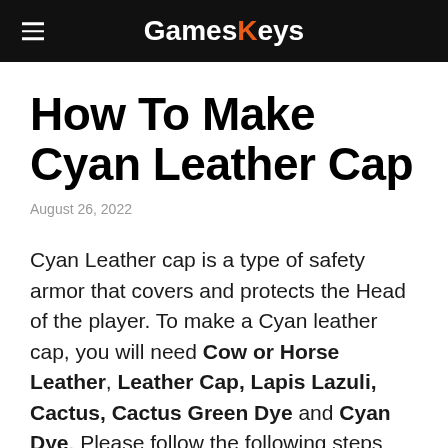GamesKeys
How To Make Cyan Leather Cap
August 26, 2022
Cyan Leather cap is a type of safety armor that covers and protects the Head of the player. To make a Cyan leather cap, you will need Cow or Horse Leather, Leather Cap, Lapis Lazuli, Cactus, Cactus Green Dye and Cyan Dye. Please follow the following steps